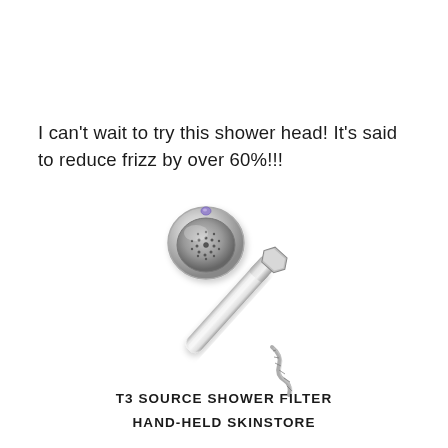I can't wait to try this shower head! It's said to reduce frizz by over 60%!!!
[Figure (photo): Chrome handheld shower head filter (T3 Source Shower Filter) with a round spray face and long handle with hose attachment, shown at an angle against white background]
T3 SOURCE SHOWER FILTER
HAND-HELD SKINSTORE